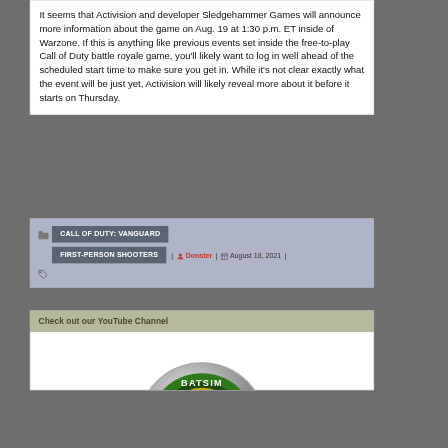It seems that Activision and developer Sledgehammer Games will announce more information about the game on Aug. 19 at 1:30 p.m. ET inside of Warzone. If this is anything like previous events set inside the free-to-play Call of Duty battle royale game, you'll likely want to log in well ahead of the scheduled start time to make sure you get in. While it's not clear exactly what the event will be just yet, Activision will likely reveal more about it before it starts on Thursday.
CALL OF DUTY: VANGUARD | FIRST-PERSON SHOOTERS | Donster | August 18, 2021 |
Check out our YouTube Channel
[Figure (logo): Partial circular logo with green and yellow design, text partially visible reading BATSIM]